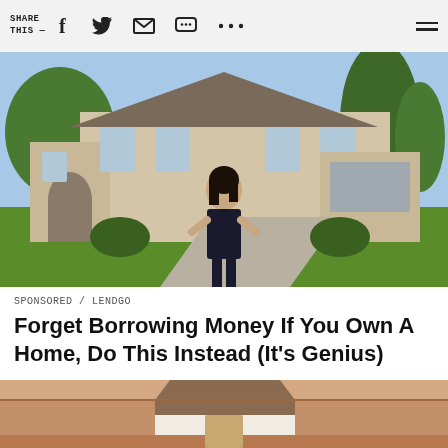SHARE THIS —
[Figure (photo): Woman in black dress standing in front of a large upscale suburban house with a curved driveway, green lawn and trees]
SPONSORED / LENDGO
Forget Borrowing Money If You Own A Home, Do This Instead (It's Genius)
[Figure (illustration): Partial illustration of a house interior/exterior scene with warm peach/brown tones, partially visible at bottom of page]